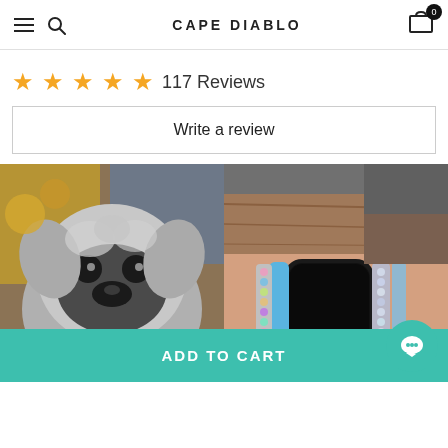CAPE DIABLO
117 Reviews
Write a review
[Figure (photo): Close-up photo of a fluffy grey and white dog looking at the camera]
[Figure (photo): Wrist wearing a decorative beaded wrap watch band with an Apple Watch, showing colorful stones]
ADD TO CART